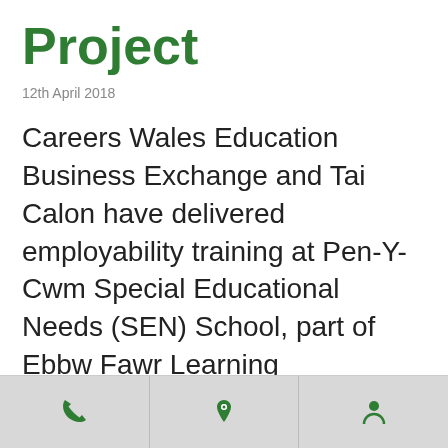Project
12th April 2018
Careers Wales Education Business Exchange and Tai Calon have delivered employability training at Pen-Y-Cwm Special Educational Needs (SEN) School, part of Ebbw Fawr Learning Community.
Pen-y-Cwm Special School was established in 1976
[Figure (other): Mobile app footer navigation bar with three icon buttons: phone/call icon, home/location icon, and person/profile icon, all in green on a grey background.]